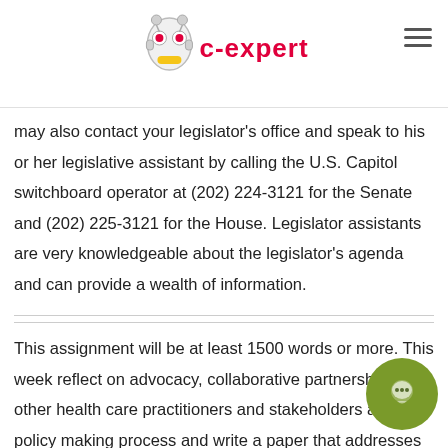c-expert
may also contact your legislator's office and speak to his or her legislative assistant by calling the U.S. Capitol switchboard operator at (202) 224-3121 for the Senate and (202) 225-3121 for the House. Legislator assistants are very knowledgeable about the legislator's agenda and can provide a wealth of information.
This assignment will be at least 1500 words or more. This week reflect on advocacy, collaborative partnerships with other health care practitioners and stakeholders and the policy making process and write a paper that addresses the following: